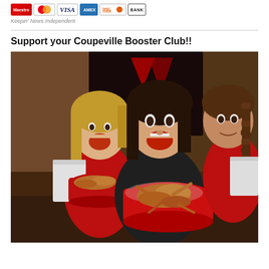[Figure (other): Row of payment card logos: Maestro, MasterCard, VISA, American Express, Discover, BANK]
Keepin' News Independent
[Figure (photo): Photo of girls holding red bowls filled with crab at what appears to be a Coupeville Booster Club crab feed event. Girls are smiling and excited, wearing red shirts and a black hoodie.]
Support your Coupeville Booster Club!!